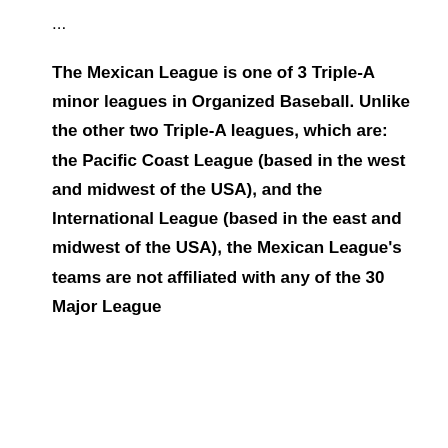...
The Mexican League is one of 3 Triple-A minor leagues in Organized Baseball. Unlike the other two Triple-A leagues, which are: the Pacific Coast League (based in the west and midwest of the USA), and the International League (based in the east and midwest of the USA), the Mexican League's teams are not affiliated with any of the 30 Major League